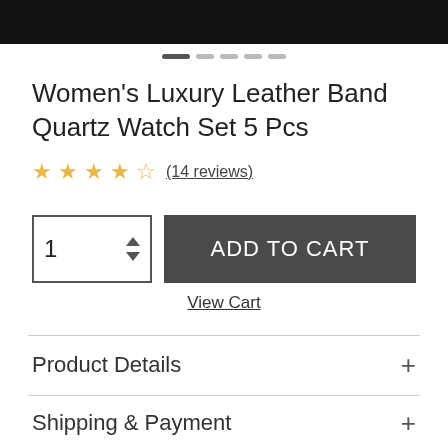[Figure (photo): Product image top strip (black background, watch photo cropped)]
Women's Luxury Leather Band Quartz Watch Set 5 Pcs
★★★★½ (14 reviews)
1 [quantity selector] ADD TO CART
View Cart
Product Details
Shipping & Payment